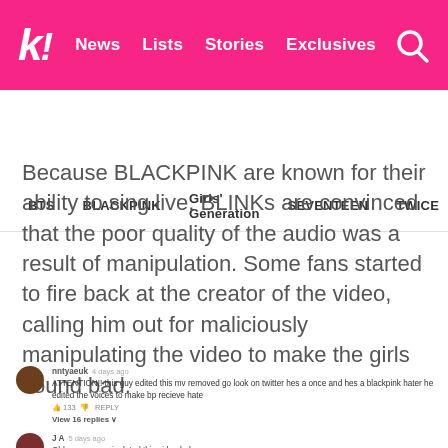k! News Lists Stories Exclusives
BTS BLACKPINK Girls' Generation SEVENTEEN TWICE
Because BLACKPINK are known for their ability to sing live, BLINKs are convinced that the poor quality of the audio was a result of manipulation. Some fans started to fire back at the creator of the video, calling him out for maliciously manipulating the video to make the girls sound bad.
nntyaeuk 4 days ago
ATTENTION!! this guy edited this mv removed go look on twitter hes a once and hes a blackpink hater he edited the voices to make bp recieve hate
133 REPLY
View 16 replies
J A 5 days ago
Ohh so you manipulated this video huh
How pathetic
Blinks need this